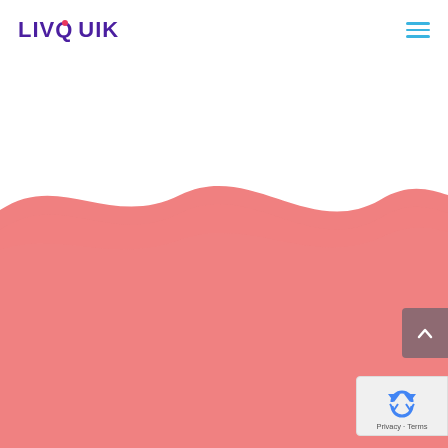[Figure (logo): LivQuik logo with purple text and pink dot accent]
[Figure (illustration): Hamburger menu icon with three cyan horizontal lines]
[Figure (illustration): Wave-shaped salmon/coral pink background filling the lower portion of the page]
[Figure (other): Scroll-to-top button, dark mauve/rose square with upward chevron arrow]
[Figure (other): Google reCAPTCHA badge with recycling arrow icon and Privacy - Terms text]